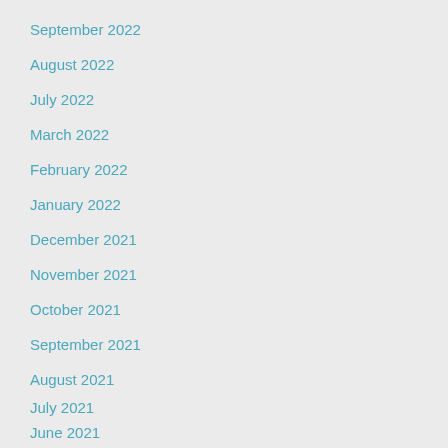September 2022
August 2022
July 2022
March 2022
February 2022
January 2022
December 2021
November 2021
October 2021
September 2021
August 2021
July 2021
June 2021